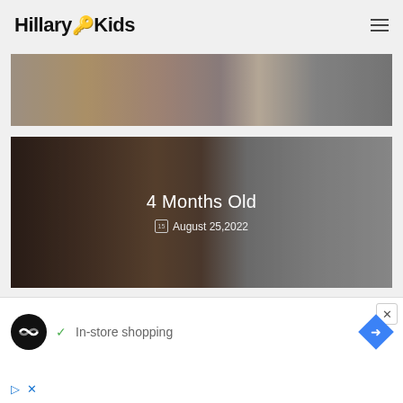HillaryKids
[Figure (photo): Partial view of a person sitting, cropped image showing lower body]
[Figure (photo): Baby lying on floor reaching for an apple, with dark overlay showing text '4 Months Old' and date 'August 25, 2022']
4 Months Old
August 25,2022
[Figure (photo): Child's face looking at camera with text overlay 'Why Does My Child Need The Hepatitis B']
Why Does My Child Need The Hepatitis B
In-store shopping